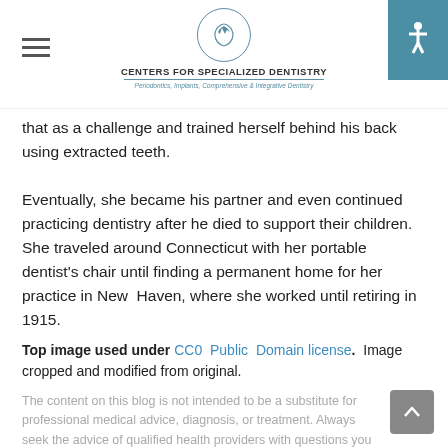Centers for Specialized Dentistry — Periodontics, Implants, Comprehensive & Integrative Dentistry
that as a challenge and trained herself behind his back using extracted teeth.
Eventually, she became his partner and even continued practicing dentistry after he died to support their children. She traveled around Connecticut with her portable dentist's chair until finding a permanent home for her practice in New Haven, where she worked until retiring in 1915.
Top image used under CC0 Public Domain license. Image cropped and modified from original.
The content on this blog is not intended to be a substitute for professional medical advice, diagnosis, or treatment. Always seek the advice of qualified health providers with questions you...